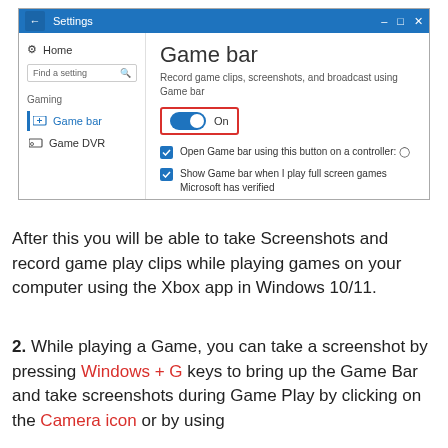[Figure (screenshot): Windows 10 Settings window showing Game bar page. Left sidebar shows Home, a search field, Gaming section with Game bar (active/highlighted in blue) and Game DVR. Main content area shows 'Game bar' heading, description 'Record game clips, screenshots, and broadcast using Game bar', a blue toggle switched On (highlighted with red border), a checked checkbox 'Open Game bar using this button on a controller: [Xbox icon]', and a checked checkbox 'Show Game bar when I play full screen games Microsoft has verified'.]
After this you will be able to take Screenshots and record game play clips while playing games on your computer using the Xbox app in Windows 10/11.
2. While playing a Game, you can take a screenshot by pressing Windows + G keys to bring up the Game Bar and take screenshots during Game Play by clicking on the Camera icon or by using